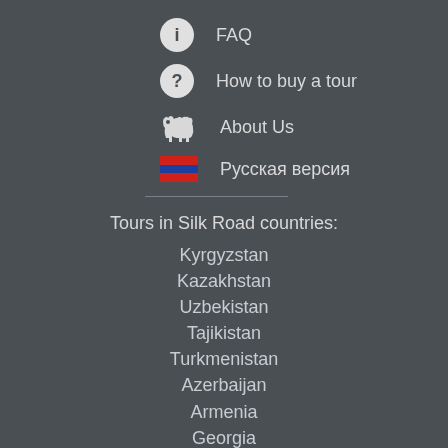FAQ
How to buy a tour
About Us
Русская версия
Tours in Silk Road countries:
Kyrgyzstan
Kazakhstan
Uzbekistan
Tajikistan
Turkmenistan
Azerbaijan
Armenia
Georgia
Skiing tours in Central Asia